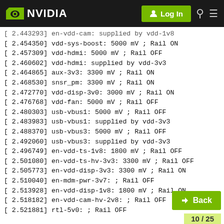NVIDIA | Log In
[ 2.443293] en-vdd-cam: supplied by vdd-1v8
[ 2.454350] vdd-sys-boost: 5000 mV ; Rail ON
[ 2.457309] vdd-hdmi: 5000 mV ; Rail OFF
[ 2.460602] vdd-hdmi: supplied by vdd-3v3
[ 2.464865] aux-3v3: 3300 mV ; Rail ON
[ 2.468530] snsr_pm: 3300 mV ; Rail ON
[ 2.472770] vdd-disp-3v0: 3000 mV ; Rail ON
[ 2.476768] vdd-fan: 5000 mV ; Rail OFF
[ 2.480303] usb-vbus1: 5000 mV ; Rail OFF
[ 2.483983] usb-vbus1: supplied by vdd-3v3
[ 2.488370] usb-vbus3: 5000 mV ; Rail OFF
[ 2.492060] usb-vbus3: supplied by vdd-3v3
[ 2.496749] en-vdd-ts-1v8: 1800 mV ; Rail OFF
[ 2.501080] en-vdd-ts-hv-3v3: 3300 mV ; Rail OFF
[ 2.505773] en-vdd-disp-3v3: 3300 mV ; Rail ON
[ 2.510040] en-mdm-pwr-3v7: ; Rail OFF
[ 2.513928] en-vdd-disp-1v8: 1800 mV ; Rail ON
[ 2.518182] en-vdd-cam-hv-2v8: ; Rail OFF
[ 2.521881] rtl-5v0: ; Rail OFF